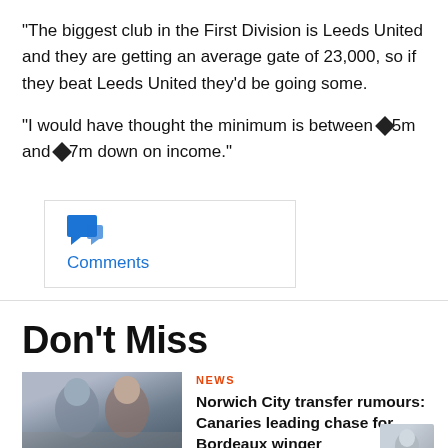“The biggest club in the First Division is Leeds United and they are getting an average gate of 23,000, so if they beat Leeds United they'd be going some.

“I would have thought the minimum is between ◆5m and ◆7m down on income.”
[Figure (other): Comments button with speech bubble icon and blue 'Comments' text link, inside a bordered box]
Don't Miss
[Figure (photo): Photo of two men, possibly football managers, with a green banner at the bottom reading 'NORWICH CITY']
NEWS
Norwich City transfer rumours: Canaries leading chase for Bordeaux winger